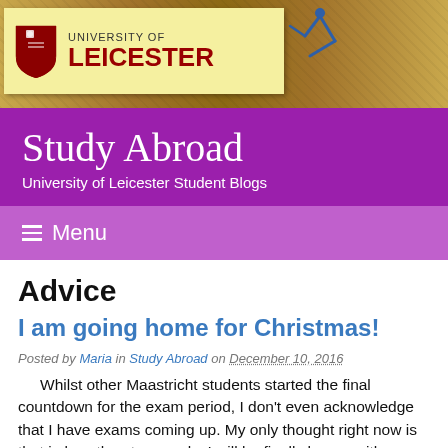[Figure (logo): University of Leicester logo on sticky note over wooden background header banner]
Study Abroad
University of Leicester Student Blogs
≡ Menu
Advice
I am going home for Christmas!
Posted by Maria in Study Abroad on December 10, 2016
Whilst other Maastricht students started the final countdown for the exam period, I don't even acknowledge that I have exams coming up. My only thought right now is that in less than two weeks I will be finally home, with my